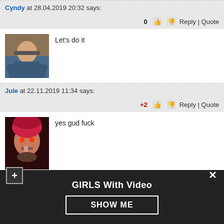Cyndy at 28.04.2019 20:32 says:
0  Reply | Quote
Let's do it
Jule at 22.11.2019 11:34 says:
+2  Reply | Quote
yes gud fuck
Mana at 09.01.2020 10:30 says:
0  Reply | Quote
fack you may girls frends italy no like Porn i lik fortinkx
GIRLS With Video
SHOW ME